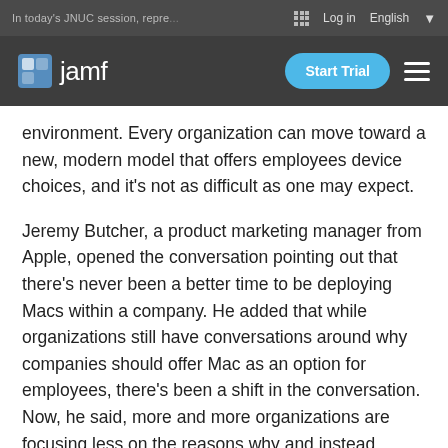In today's JNUC session, repre... Log in  English
[Figure (logo): Jamf logo with 'Start Trial' button and hamburger menu on dark navigation bar]
environment. Every organization can move toward a new, modern model that offers employees device choices, and it’s not as difficult as one may expect.
Jeremy Butcher, a product marketing manager from Apple, opened the conversation pointing out that there’s never been a better time to be deploying Macs within a company. He added that while organizations still have conversations around why companies should offer Mac as an option for employees, there’s been a shift in the conversation. Now, he said, more and more organizations are focusing less on the reasons why and instead looking at how to make having Mac as a choice possible.
Butcher then took a look at the success IBM has seen with their own choice program, sharing that users